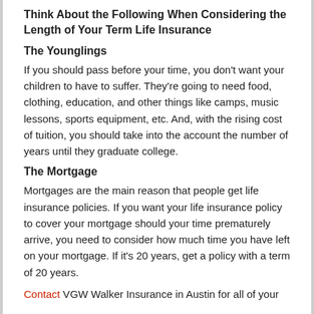Think About the Following When Considering the Length of Your Term Life Insurance
The Younglings
If you should pass before your time, you don't want your children to have to suffer. They're going to need food, clothing, education, and other things like camps, music lessons, sports equipment, etc. And, with the rising cost of tuition, you should take into the account the number of years until they graduate college.
The Mortgage
Mortgages are the main reason that people get life insurance policies. If you want your life insurance policy to cover your mortgage should your time prematurely arrive, you need to consider how much time you have left on your mortgage. If it's 20 years, get a policy with a term of 20 years.
Contact VGW Walker Insurance in Austin for all of your